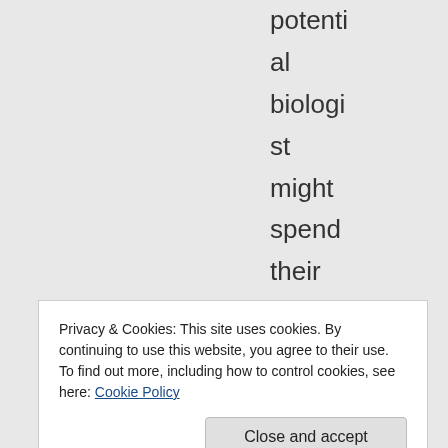potential biologist might spend their childhood having their
Privacy & Cookies: This site uses cookies. By continuing to use this website, you agree to their use. To find out more, including how to control cookies, see here: Cookie Policy
Close and accept
potenti